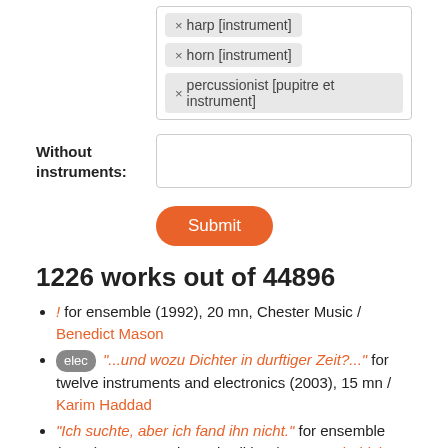[Figure (screenshot): Tag input area with tags: harp [instrument], horn [instrument], percussionist [pupitre et instrument]]
Without instruments:
[Figure (screenshot): Empty text input field for Without instruments]
[Figure (screenshot): Submit button (orange rounded)]
1226 works out of 44896
! for ensemble (1992), 20 mn, Chester Music / Benedict Mason
elec "...und wozu Dichter in durftiger Zeit?..." for twelve instruments and electronics (2003), 15 mn / Karim Haddad
"Ich suchte, aber ich fand ihn nicht." for ensemble (2011), 25 mn, Universal Edition / Georg Friedrich Haas
"nouvelle œuvre" for large ensemble (2010-2011), 13 mn / Torsten Herrmann
#9 for ensemble (2009-2010) [program note] / Mauro Lanza
(co)ro(na) for ensemble (2005), 9 mn, Universal Edition / Vykintas Baltakas